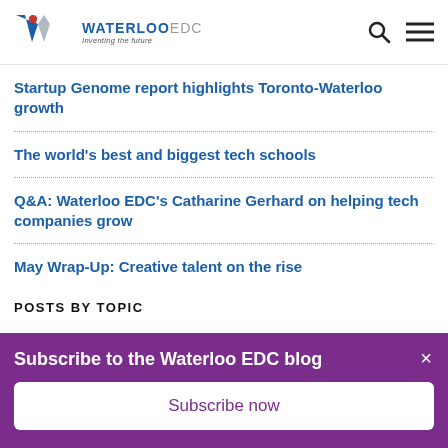WATERLOO EDC — Inventing the future
Startup Genome report highlights Toronto-Waterloo growth
The world's best and biggest tech schools
Q&A: Waterloo EDC's Catharine Gerhard on helping tech companies grow
May Wrap-Up: Creative talent on the rise
POSTS BY TOPIC
Subscribe to the Waterloo EDC blog
Subscribe now